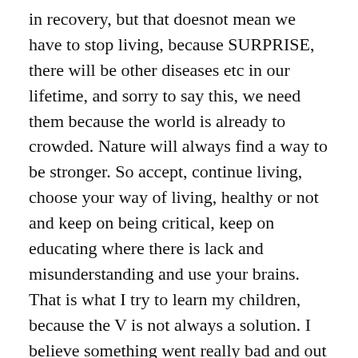in recovery, but that doesnot mean we have to stop living, because SURPRISE, there will be other diseases etc in our lifetime, and sorry to say this, we need them because the world is already to crowded. Nature will always find a way to be stronger. So accept, continue living, choose your way of living, healthy or not and keep on being critical, keep on educating where there is lack and misunderstanding and use your brains. That is what I try to learn my children, because the V is not always a solution. I believe something went really bad and out of control completely, which explains the reaction we had in the world, it is the only logical explanation for me.
I am glad I found Sebastian Rushworth who has